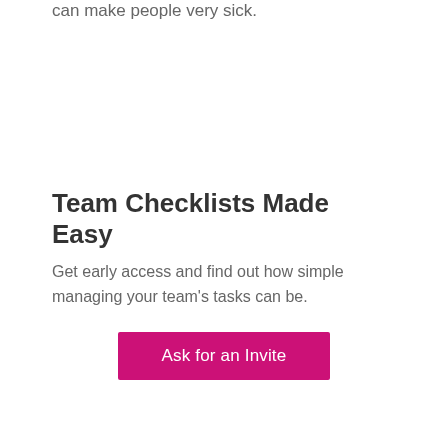can make people very sick.
Team Checklists Made Easy
Get early access and find out how simple managing your team's tasks can be.
Ask for an Invite